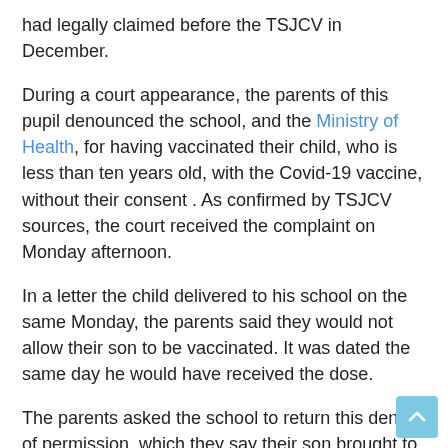had legally claimed before the TSJCV in December.
During a court appearance, the parents of this pupil denounced the school, and the Ministry of Health, for having vaccinated their child, who is less than ten years old, with the Covid-19 vaccine, without their consent . As confirmed by TSJCV sources, the court received the complaint on Monday afternoon.
In a letter the child delivered to his school on the same Monday, the parents said they would not allow their son to be vaccinated. It was dated the same day he would have received the dose.
The parents asked the school to return this denial of permission, which they say their son brought to the center with a school entry stamp. Attached to the said document were two emails, dated December 15 and January 13, in which they had informed the school that they did not consent to the vaccination of their child.